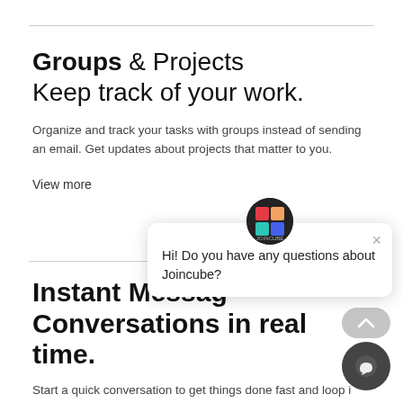Groups & Projects
Keep track of your work.
Organize and track your tasks with groups instead of sending an email. Get updates about projects that matter to you.
View more
Instant Messaging
Conversations in real time.
Start a quick conversation to get things done fast and loop in more coworkers to make sure everyone is on the same page.
[Figure (screenshot): Chat popup overlay with Joincube logo avatar, close button (×), and text 'Hi! Do you have any questions about Joincube?']